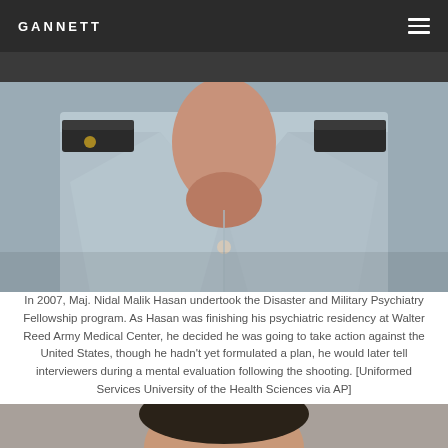GANNETT
[Figure (photo): Close-up photo of a man in a military uniform (light gray shirt with dark epaulettes), cropped to show neck and torso only, face not visible]
In 2007, Maj. Nidal Malik Hasan undertook the Disaster and Military Psychiatry Fellowship program. As Hasan was finishing his psychiatric residency at Walter Reed Army Medical Center, he decided he was going to take action against the United States, though he hadn't yet formulated a plan, he would later tell interviewers during a mental evaluation following the shooting. [Uniformed Services University of the Health Sciences via AP]
[Figure (photo): Partial photo showing top of a person's head, cropped at bottom of page]